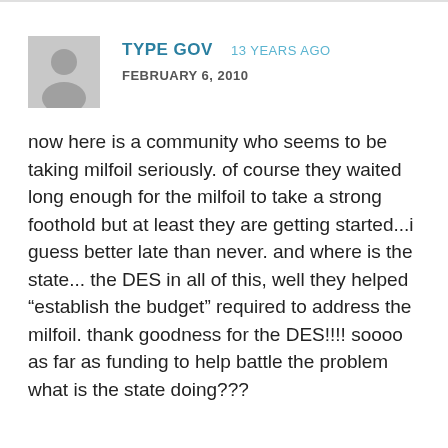TYPE GOV   13 YEARS AGO
FEBRUARY 6, 2010
now here is a community who seems to be taking milfoil seriously. of course they waited long enough for the milfoil to take a strong foothold but at least they are getting started...i guess better late than never. and where is the state... the DES in all of this, well they helped “establish the budget” required to address the milfoil. thank goodness for the DES!!!! soooo as far as funding to help battle the problem what is the state doing???